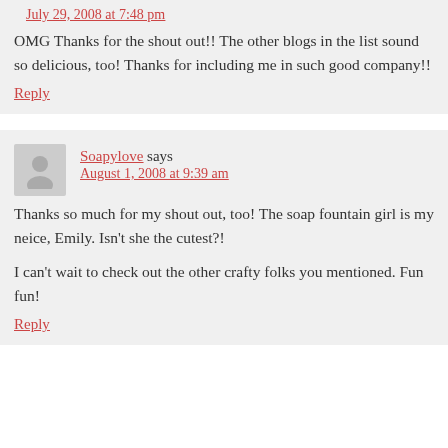July 29, 2008 at 7:48 pm
OMG Thanks for the shout out!! The other blogs in the list sound so delicious, too! Thanks for including me in such good company!!
Reply
Soapylove says
August 1, 2008 at 9:39 am
Thanks so much for my shout out, too! The soap fountain girl is my neice, Emily. Isn't she the cutest?!
I can't wait to check out the other crafty folks you mentioned. Fun fun!
Reply